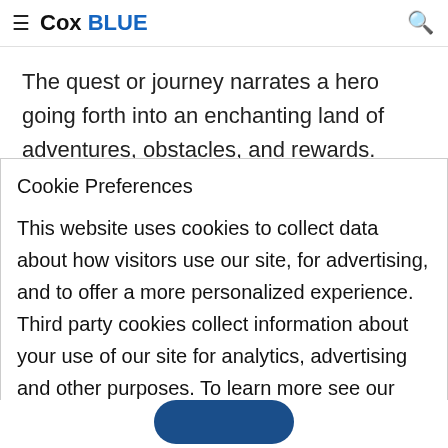≡ Cox BLUE 🔍
The quest or journey narrates a hero going forth into an enchanting land of adventures, obstacles, and rewards. Most of the time, the main character
Cookie Preferences
This website uses cookies to collect data about how visitors use our site, for advertising, and to offer a more personalized experience. Third party cookies collect information about your use of our site for analytics, advertising and other purposes. To learn more see our Online Privacy Policy and California Privacy Notice.